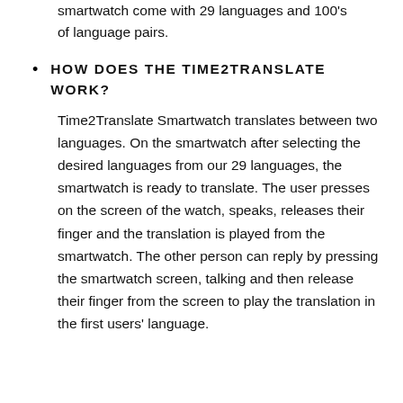smartwatch come with 29 languages and 100's of language pairs.
HOW DOES THE TIME2TRANSLATE WORK?
Time2Translate Smartwatch translates between two languages. On the smartwatch after selecting the desired languages from our 29 languages, the smartwatch is ready to translate. The user presses on the screen of the watch, speaks, releases their finger and the translation is played from the smartwatch. The other person can reply by pressing the smartwatch screen, talking and then release their finger from the screen to play the translation in the first users' language.